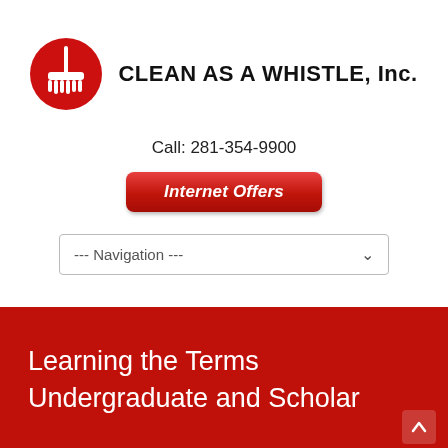[Figure (logo): Clean As A Whistle Inc. logo: red circle with white broom/mop icon, followed by company name text]
CLEAN AS A WHISTLE, Inc.
Call: 281-354-9900
Internet Offers
--- Navigation ---
Learning the Terms Undergraduate and Scholar